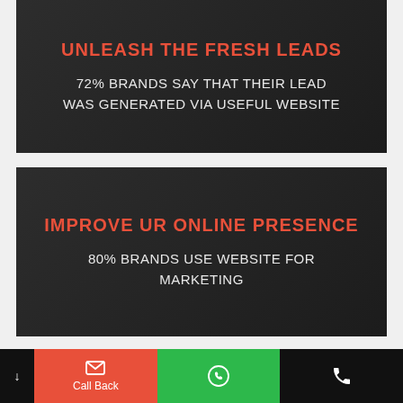UNLEASH THE FRESH LEADS
72% BRANDS SAY THAT THEIR LEAD WAS GENERATED VIA USEFUL WEBSITE
IMPROVE UR ONLINE PRESENCE
80% BRANDS USE WEBSITE FOR MARKETING
↓  Call Back  [WhatsApp icon]  [Phone icon]